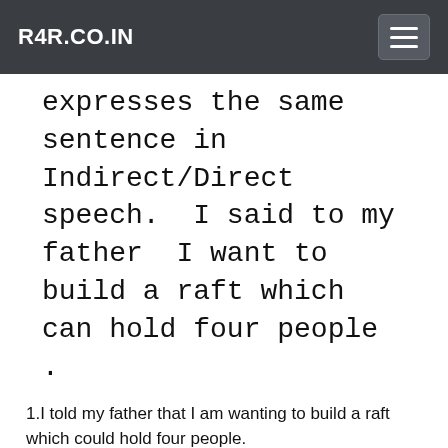R4R.CO.IN
expresses the same sentence in Indirect/Direct speech.  I said to my father  I want to build a raft which can hold four people .
1.I told my father that I am wanting to build a raft which could hold four people.
2.I told my father that that I wanted to build a raft which could hold four people.
3.I told my father that that I am wanting to build a raft